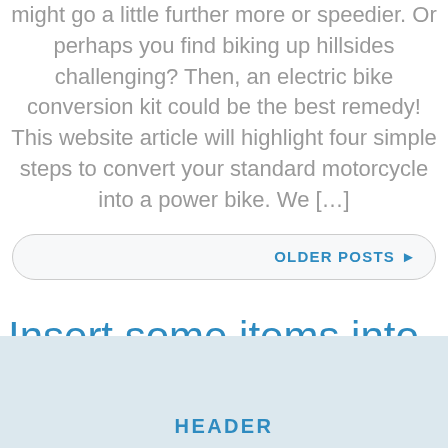might go a little further more or speedier. Or perhaps you find biking up hillsides challenging? Then, an electric bike conversion kit could be the best remedy! This website article will highlight four simple steps to convert your standard motorcycle into a power bike. We […]
OLDER POSTS ▶
Insert some items into the portfolio
HEADER